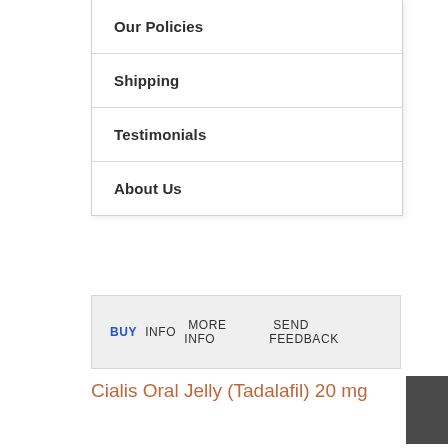Our Policies
Shipping
Testimonials
About Us
BUY  INFO  MORE INFO  SEND FEEDBACK
Cialis Oral Jelly (Tadalafil) 20 mg